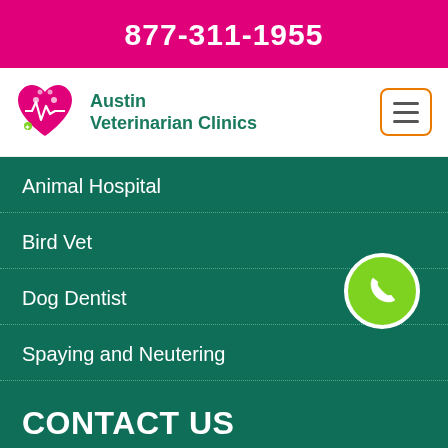877-311-1955
[Figure (logo): Austin Veterinarian Clinics logo with heart and paw icon in pink/green colors, and hamburger menu icon in orange border]
Animal Hospital
Bird Vet
Dog Dentist
Spaying and Neutering
[Figure (illustration): Green circle phone button with white phone handset icon]
CONTACT US
Austin
877-311-1955